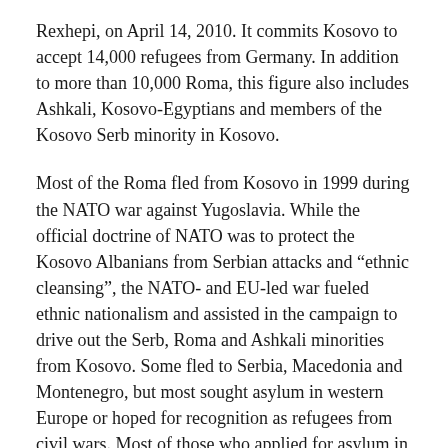Rexhepi, on April 14, 2010. It commits Kosovo to accept 14,000 refugees from Germany. In addition to more than 10,000 Roma, this figure also includes Ashkali, Kosovo-Egyptians and members of the Kosovo Serb minority in Kosovo.
Most of the Roma fled from Kosovo in 1999 during the NATO war against Yugoslavia. While the official doctrine of NATO was to protect the Kosovo Albanians from Serbian attacks and “ethnic cleansing”, the NATO- and EU-led war fueled ethnic nationalism and assisted in the campaign to drive out the Serb, Roma and Ashkali minorities from Kosovo. Some fled to Serbia, Macedonia and Montenegro, but most sought asylum in western Europe or hoped for recognition as refugees from civil wars. Most of those who applied for asylum in Germany were turned down.
Now, many of those who did get into the country are